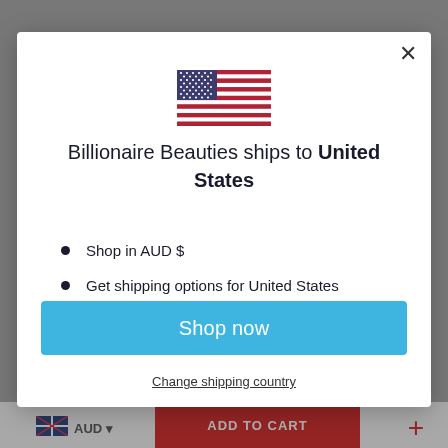[Figure (illustration): US flag icon centered at top of modal]
Billionaire Beauties ships to United States
Shop in AUD $
Get shipping options for United States
Shop now
Change shipping country